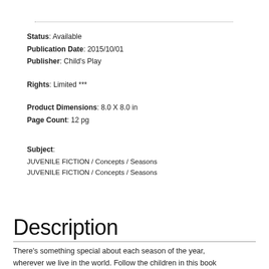Status: Available
Publication Date: 2015/10/01
Publisher: Child's Play
Rights: Limited ***
Product Dimensions: 8.0 X 8.0 in
Page Count: 12 pg
Subject:
JUVENILE FICTION / Concepts / Seasons
JUVENILE FICTION / Concepts / Seasons
Description
There's something special about each season of the year, wherever we live in the world. Follow the children in this book